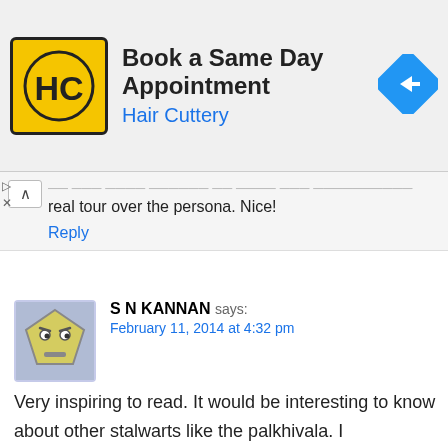[Figure (infographic): Hair Cuttery advertisement banner: 'Book a Same Day Appointment' with HC logo and navigation arrow icon]
real tour over the persona. Nice!
Reply
S N KANNAN says: February 11, 2014 at 4:32 pm
Very inspiring to read. It would be interesting to know about other stalwarts like the palkhivala. I understand that the book Kanga & Palkhivala's 'The Law & Practice of Income-Tax' commanded equal force of Income tax law, in court rooms. I remember listening to a lecture, where it was quoted